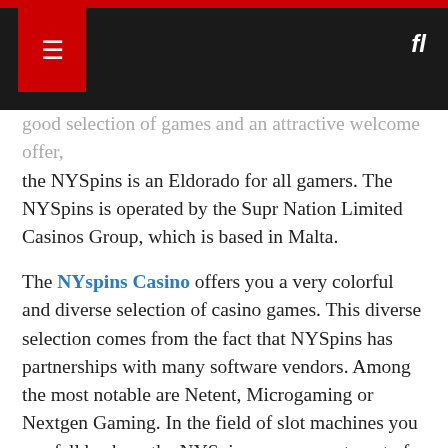[Navigation header with red menu box and search icon on dark background]
good selection of games and an attractive welcome offer, the NYSpins is an Eldorado for all gamers. The NYSpins is operated by the Supr Nation Limited Casinos Group, which is based in Malta.
The NYspins Casino offers you a very colorful and diverse selection of casino games. This diverse selection comes from the fact that NYSpins has partnerships with many software vendors. Among the most notable are Netent, Microgaming or Nextgen Gaming. In the field of slot machines you can fall back on the NYSpins on an assortment of about 500 slots . These include classics like Starburst or Gonzo's Quest. But all new releases of the providers are always included quickly in the offer. Thus, the selection of slots is growing continuously. Even jackpot gamblers have a good selection at the casino. For